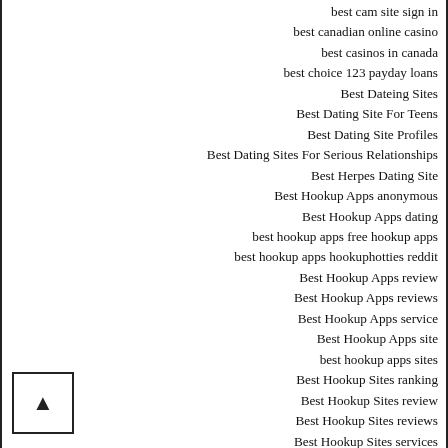best cam site sign in
best canadian online casino
best casinos in canada
best choice 123 payday loans
Best Dateing Sites
Best Dating Site For Teens
Best Dating Site Profiles
Best Dating Sites For Serious Relationships
Best Herpes Dating Site
Best Hookup Apps anonymous
Best Hookup Apps dating
best hookup apps free hookup apps
best hookup apps hookuphotties reddit
Best Hookup Apps review
Best Hookup Apps reviews
Best Hookup Apps service
Best Hookup Apps site
best hookup apps sites
Best Hookup Sites ranking
Best Hookup Sites review
Best Hookup Sites reviews
Best Hookup Sites services
best installment loans
best online casino canada
best online casino in canada
best online casinos for canadians
best online casinos in canada